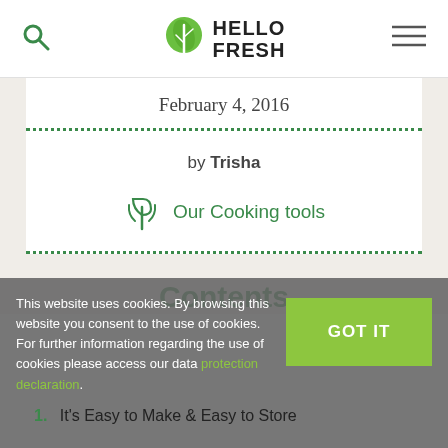HelloFresh logo with search and menu icons
February 4, 2016
by Trisha
Our Cooking tools
This website uses cookies. By browsing this website you consent to the use of cookies. For further information regarding the use of cookies please access our data protection declaration.
Contents
1. It's Easy to Make & Easy to Store